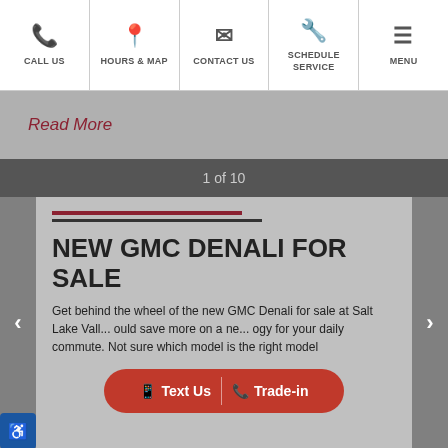CALL US | HOURS & MAP | CONTACT US | SCHEDULE SERVICE | MENU
Read More
1 of 10
NEW GMC DENALI FOR SALE
Get behind the wheel of the new GMC Denali for sale at Salt Lake Vall... ould save more on a ne... ogy for your daily commute. Not sure which model is the right model
Text Us | Trade-in